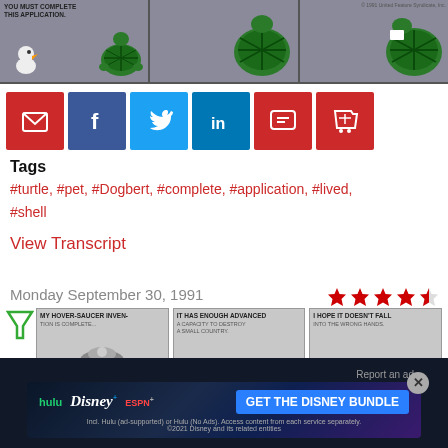[Figure (illustration): Comic strip panels showing a turtle. First panel has text 'YOU MUST COMPLETE THIS APPLICATION.' Second panel shows turtle from back. Third panel shows turtle eating/holding paper.]
[Figure (infographic): Social sharing buttons: email (red), facebook (blue), twitter (light blue), linkedin (blue), comment (red), cart (red)]
Tags
#turtle, #pet, #Dogbert, #complete, #application, #lived, #shell
View Transcript
Monday September 30, 1991
[Figure (illustration): Star rating: 4.5 out of 5 stars in red]
[Figure (illustration): Next comic strip panels: MY HOVER-SAUCER INVEN-, IT HAS ENOUGH ADVANCED, I HOPE IT DOESN'T FALL]
[Figure (illustration): Disney Bundle advertisement banner with Hulu, Disney+, ESPN+ logos and GET THE DISNEY BUNDLE CTA. Small print: Incl. Hulu (ad-supported) or Hulu (No Ads). Access content from each service separately. ©2021 Disney and its related entities]